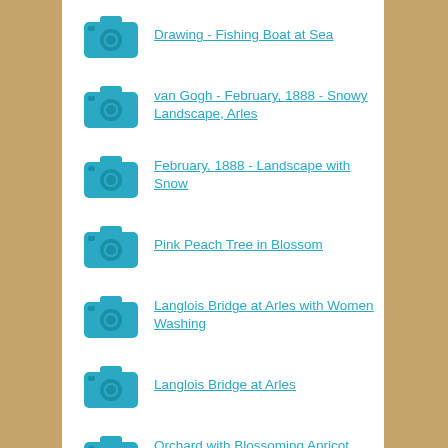Drawing - Fishing Boat at Sea
van Gogh - February, 1888 - Snowy Landscape, Arles
February, 1888 - Landscape with Snow
Pink Peach Tree in Blossom
Langlois Bridge at Arles with Women Washing
Langlois Bridge at Arles
Orchard with Blossoming Apricot Trees